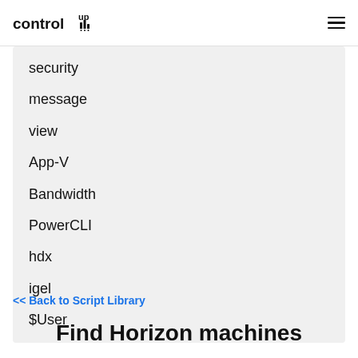ControlUp [logo] [hamburger menu]
security
message
view
App-V
Bandwidth
PowerCLI
hdx
igel
$User
<< Back to Script Library
Find Horizon machines